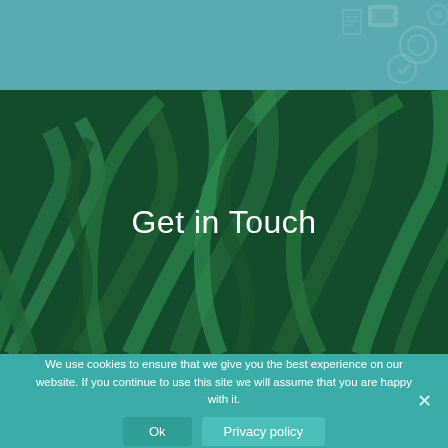[Figure (illustration): Teal/turquoise header bar with decorative icon pattern (circular and rectangular icons) visible in the upper right corner]
[Figure (photo): Close-up photograph of green tropical plant leaves with a dark green tinted overlay]
Get in Touch
We use cookies to ensure that we give you the best experience on our website. If you continue to use this site we will assume that you are happy with it.
Ok
Privacy policy